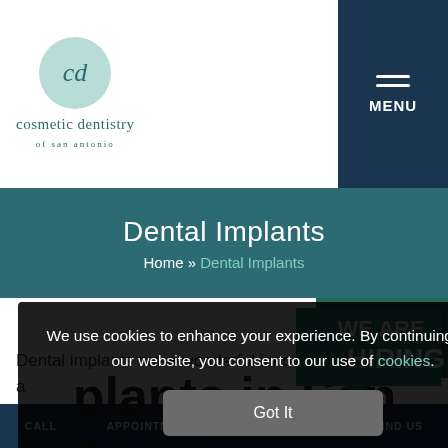[Figure (logo): Cosmetic Dentistry of San Antonio logo — circular teal badge with stylized 'cd' letters and text below]
Dental Implants
Home » Dental Implants
[Figure (infographic): We Are Hiring badge in teal speech-bubble style]
Implants in San Antonio
We use cookies to enhance your experience. By continuing to use our website, you consent to our use of cookies.
Got It
Dental implants are a wonderful innovation that act as a foundation for your replacement teeth. If you're missing
CALL   APPOINTMENT   TREATMENTS   FIND US